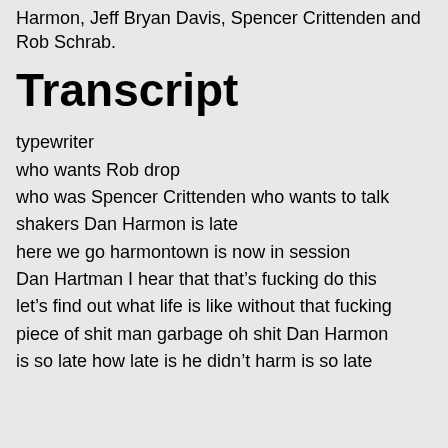Harmon, Jeff Bryan Davis, Spencer Crittenden and Rob Schrab.
Transcript
typewriter
who wants Rob drop
who was Spencer Crittenden who wants to talk
shakers Dan Harmon is late
here we go harmontown is now in session
Dan Hartman I hear that that’s fucking do this
let’s find out what life is like without that fucking
piece of shit man garbage oh shit Dan Harmon
is so late how late is he didn’t harm is so late